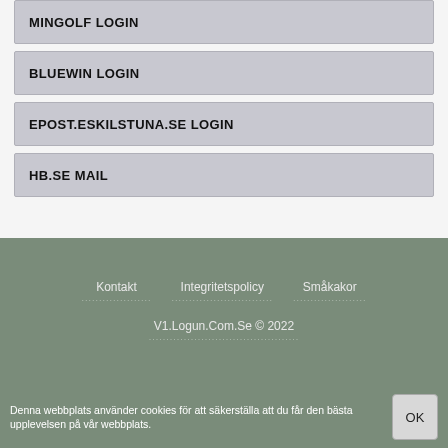MINGOLF LOGIN
BLUEWIN LOGIN
EPOST.ESKILSTUNA.SE LOGIN
HB.SE MAIL
Kontakt   Integritetspolicy   Småkakor
V1.Logun.Com.Se © 2022
Denna webbplats använder cookies för att säkerställa att du får den bästa upplevelsen på vår webbplats.